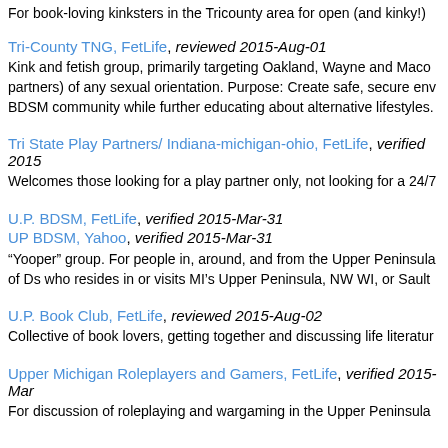For book-loving kinksters in the Tricounty area for open (and kinky!)
Tri-County TNG, FetLife, reviewed 2015-Aug-01
Kink and fetish group, primarily targeting Oakland, Wayne and Maco... partners) of any sexual orientation. Purpose: Create safe, secure env... BDSM community while further educating about alternative lifestyles.
Tri State Play Partners/ Indiana-michigan-ohio, FetLife, verified 2015
Welcomes those looking for a play partner only, not looking for a 24/7
U.P. BDSM, FetLife, verified 2015-Mar-31
UP BDSM, Yahoo, verified 2015-Mar-31
“Yooper” group. For people in, around, and from the Upper Peninsula... of Ds who resides in or visits MI’s Upper Peninsula, NW WI, or Sault
U.P. Book Club, FetLife, reviewed 2015-Aug-02
Collective of book lovers, getting together and discussing life literatur
Upper Michigan Roleplayers and Gamers, FetLife, verified 2015-Mar
For discussion of roleplaying and wargaming in the Upper Peninsula